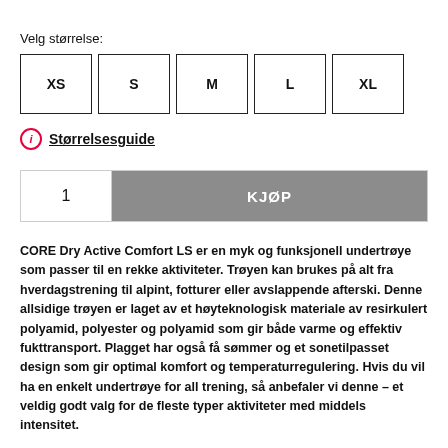Velg størrelse:
| XS | S | M | L | XL |
| --- | --- | --- | --- | --- |
Størrelsesguide
1  KJØP
CORE Dry Active Comfort LS er en myk og funksjonell undertrøye som passer til en rekke aktiviteter. Trøyen kan brukes på alt fra hverdagstrening til alpint, fotturer eller avslappende afterski. Denne allsidige trøyen er laget av et høyteknologisk materiale av resirkulert polyamid, polyester og polyamid som gir både varme og effektiv fukttransport. Plagget har også få sømmer og et sonetilpasset design som gir optimal komfort og temperaturregulering. Hvis du vil ha en enkelt undertrøye for all trening, så anbefaler vi denne – et veldig godt valg for de fleste typer aktiviteter med middels intensitet.